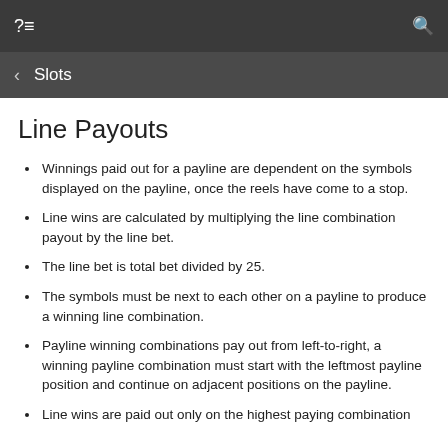?≡  Slots  🔍
Line Payouts
Winnings paid out for a payline are dependent on the symbols displayed on the payline, once the reels have come to a stop.
Line wins are calculated by multiplying the line combination payout by the line bet.
The line bet is total bet divided by 25.
The symbols must be next to each other on a payline to produce a winning line combination.
Payline winning combinations pay out from left-to-right, a winning payline combination must start with the leftmost payline position and continue on adjacent positions on the payline.
Line wins are paid out only on the highest paying combination…